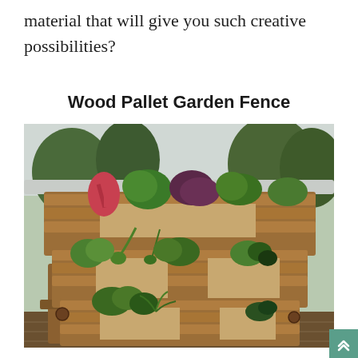material that will give you such creative possibilities?
Wood Pallet Garden Fence
[Figure (photo): A wood pallet repurposed as a vertical garden fence with multiple tiers of green plants, herbs, and colorful foliage growing from the slat spaces. The pallet stands on legs on a wooden deck, with trees and sky visible in the background.]